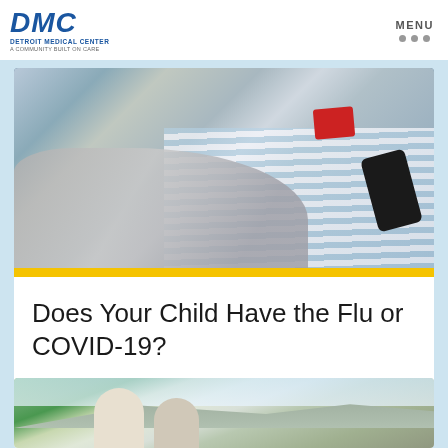[Figure (logo): DMC Detroit Medical Center logo - A Community Built on Care]
MENU
[Figure (photo): Child sick in bed with striped clothing, adult hand holding smartphone nearby - medical/health scene]
Does Your Child Have the Flu or COVID-19?
[Figure (photo): Outdoor scene with people, trees and mountain background - partial view at bottom of page]